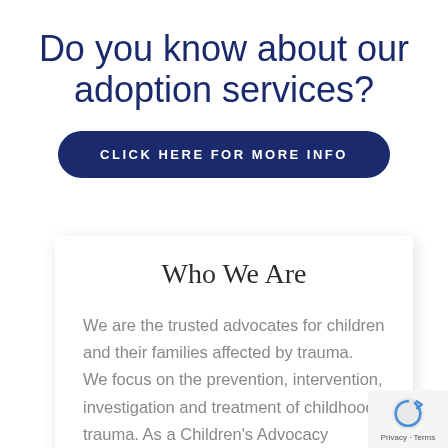Do you know about our adoption services?
CLICK HERE FOR MORE INFO
Who We Are
We are the trusted advocates for children and their families affected by trauma.  We focus on the prevention, intervention, investigation and treatment of childhood trauma. As a Children’s Advocacy Center(CAC) accredited by the National Children’s Alliance we provide a child-